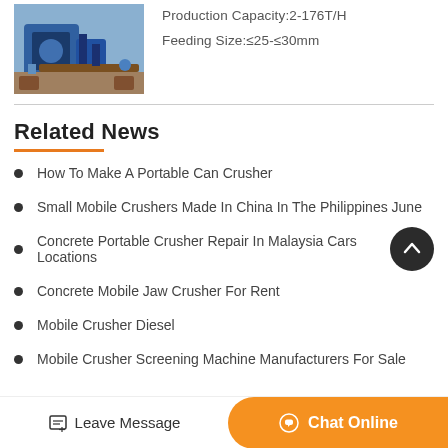[Figure (photo): Industrial crusher machine (blue) in a factory/workshop setting]
Production Capacity:2-176T/H
Feeding Size:≤25-≤30mm
Related News
How To Make A Portable Can Crusher
Small Mobile Crushers Made In China In The Philippines June
Concrete Portable Crusher Repair In Malaysia Cars Locations
Concrete Mobile Jaw Crusher For Rent
Mobile Crusher Diesel
Mobile Crusher Screening Machine Manufacturers For Sale
Leave Message  Chat Online